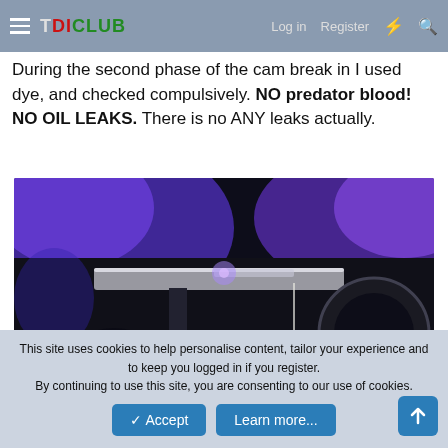TDICLUB  Log in  Register
During the second phase of the cam break in I used dye, and checked compulsively. NO predator blood! NO OIL LEAKS. There is no ANY leaks actually.
[Figure (photo): Under-car photo taken with UV/blue light showing the underside of a vehicle with a jack stand visible and bright purple/blue UV light illuminating the area, used to check for oil leaks with dye.]
This site uses cookies to help personalise content, tailor your experience and to keep you logged in if you register.
By continuing to use this site, you are consenting to our use of cookies.